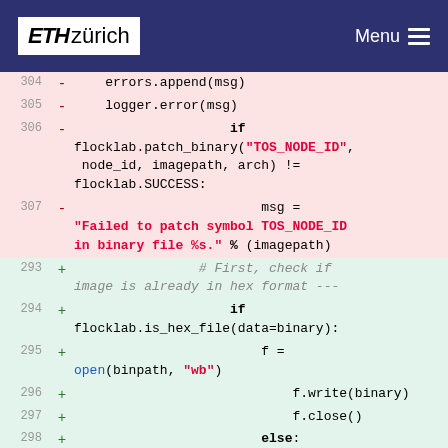ETH zürich  Menu
[Figure (screenshot): Code diff view showing removed lines (pink background, lines 304-307) and added lines (green background, lines 293-298). Removed lines show Python code for errors.append(msg), logger.error(msg), flocklab.patch_binary TOS_NODE_ID call, and msg = 'Failed to patch symbol TOS_NODE_ID in binary file %s.' % (imagepath). Added lines show comments and code for checking hex format, opening binpath, writing binary, closing file, and else clause.]